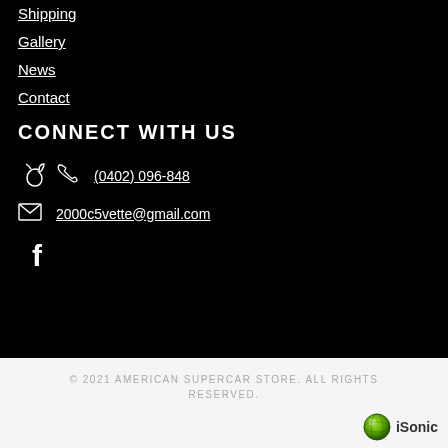Shipping
Gallery
News
Contact
CONNECT WITH US
(0402) 096-848
2000c5vette@gmail.com
[Figure (logo): Facebook icon (white 'f' letter)]
© 2021 AMERICAN SUPERCAR STORE. ALL RIGHTS RESERVED.
[Figure (logo): iSonic logo with globe icon and 'iSonic' text]